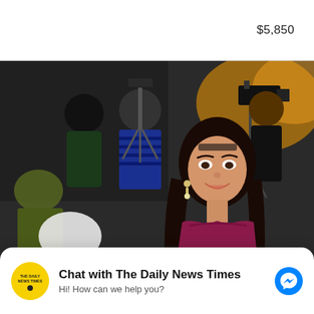$5,850
[Figure (photo): A woman with long dark hair wearing a strapless magenta/burgundy dress smiling at an event, with camera operators and tripods visible in the background. Indoor event setting with warm ambient lighting.]
Chat with The Daily News Times
Hi! How can we help you?